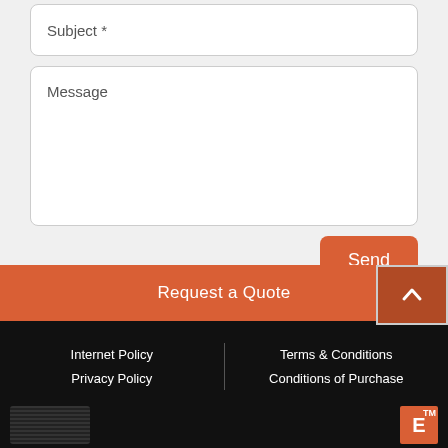Subject *
Message
Send
Request a Quote
Internet Policy
Privacy Policy
Terms & Conditions
Conditions of Purchase